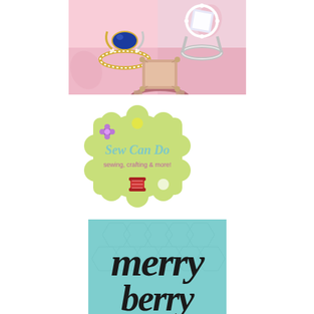[Figure (photo): Jewelry advertisement showing three rings on a pink floral background: a blue sapphire ring in yellow/white gold, a diamond halo ring in white gold, and a morganite emerald-cut ring in rose gold]
[Figure (logo): Sew Can Do logo - a light green scalloped/cloud-shaped badge with text 'Sew Can Do' and 'sewing, crafting & more!' with decorative flowers and a spool of thread]
[Figure (illustration): Teal/mint colored card with black script text reading 'merry' and partially visible word below it, with subtle hexagon pattern in background]